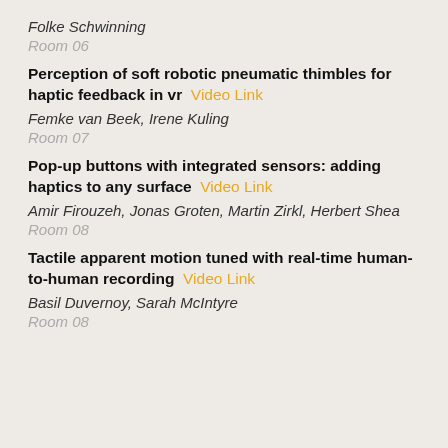Folke Schwinning
Room 06
Perception of soft robotic pneumatic thimbles for haptic feedback in vr   Video Link
Femke van Beek, Irene Kuling
Room 07
Pop-up buttons with integrated sensors: adding haptics to any surface   Video Link
Amir Firouzeh, Jonas Groten, Martin Zirkl, Herbert Shea
Room 08
Tactile apparent motion tuned with real-time human-to-human recording   Video Link
Basil Duvernoy, Sarah McIntyre
Room 08